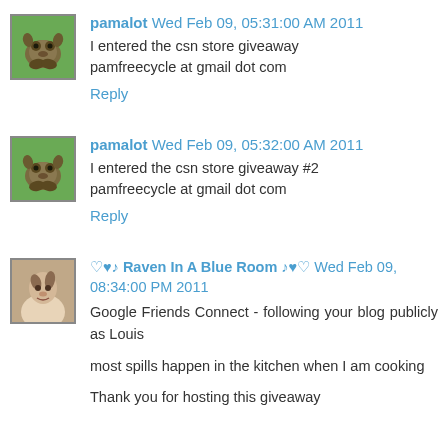pamalot Wed Feb 09, 05:31:00 AM 2011
I entered the csn store giveaway pamfreecycle at gmail dot com
Reply
pamalot Wed Feb 09, 05:32:00 AM 2011
I entered the csn store giveaway #2 pamfreecycle at gmail dot com
Reply
♡♥♪ Raven In A Blue Room ♪♥♡ Wed Feb 09, 08:34:00 PM 2011
Google Friends Connect - following your blog publicly as Louis
most spills happen in the kitchen when I am cooking
Thank you for hosting this giveaway